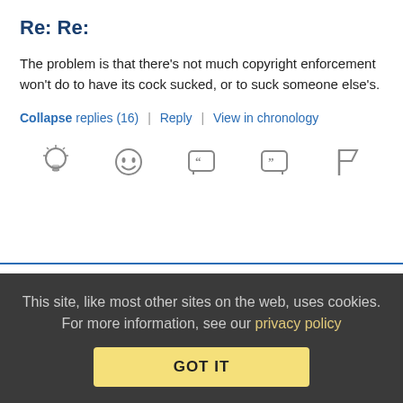Re: Re:
The problem is that there's not much copyright enforcement won't do to have its cock sucked, or to suck someone else's.
Collapse replies (16) | Reply | View in chronology
[Figure (infographic): Row of 5 action icons: lightbulb, laughing face, quote bubble open, quote bubble close, flag]
[3]
tp (profile) January 23, 2020 at 4:07 pm
This site, like most other sites on the web, uses cookies. For more information, see our privacy policy
GOT IT